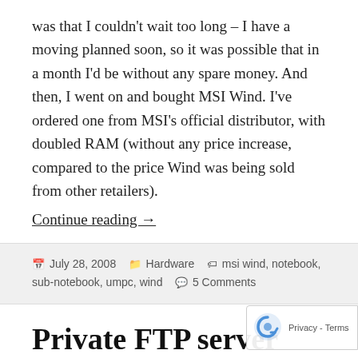was that I couldn't wait too long – I have a moving planned soon, so it was possible that in a month I'd be without any spare money. And then, I went on and bought MSI Wind. I've ordered one from MSI's official distributor, with doubled RAM (without any price increase, compared to the price Wind was being sold from other retailers).
Continue reading →
July 28, 2008   Hardware   msi wind, notebook, sub-notebook, umpc, wind   5 Comments
Private FTP server
I wanted to share few files from my home server computer, so I've decided to run FTP server on the box. I've chosen not to use SFTP/SCP because I don't